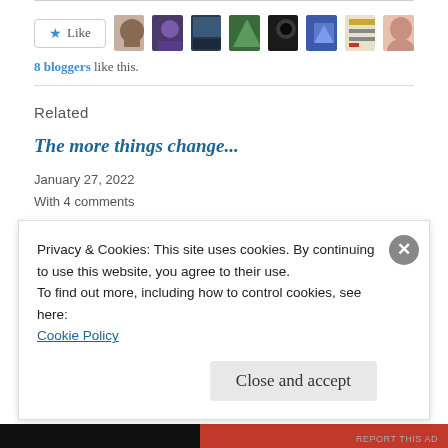[Figure (other): Like button with star icon and 8 blogger avatar thumbnails]
8 bloggers like this.
Related
The more things change...
January 27, 2022
With 4 comments
What is the Truth?
Privacy & Cookies: This site uses cookies. By continuing to use this website, you agree to their use.
To find out more, including how to control cookies, see here:
Cookie Policy
Close and accept